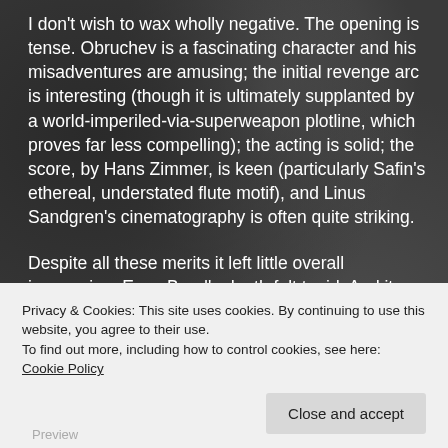I don't wish to wax wholly negative. The opening is tense. Obruchev is a fascinating character and his misadventures are amusing; the initial revenge arc is interesting (though it is ultimately supplanted by a world-imperiled-via-superweapon plotline, which proves far less compelling); the acting is solid; the score, by Hans Zimmer, is keen (particularly Safin's ethereal, understated flute motif), and Linus Sandgren's cinematography is often quite striking.
Despite all these merits it left little overall impression. Even Bond's death felt tepid. And its easy to
Privacy & Cookies: This site uses cookies. By continuing to use this website, you agree to their use.
To find out more, including how to control cookies, see here: Cookie Policy
Close and accept
Preview